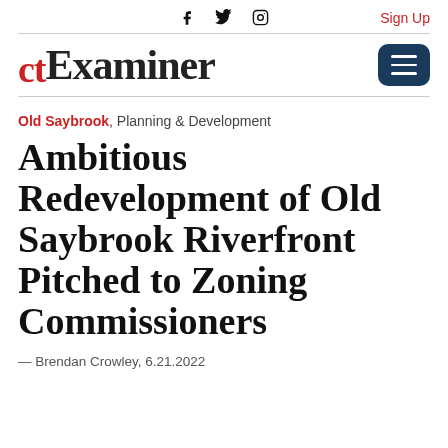f  twitter  instagram   Sign Up
[Figure (logo): CT Examiner logo with red CT letters and black Examiner text, and a dark blue hamburger menu button on the right]
Old Saybrook, Planning & Development
Ambitious Redevelopment of Old Saybrook Riverfront Pitched to Zoning Commissioners
— Brendan Crowley, 6.21.2022